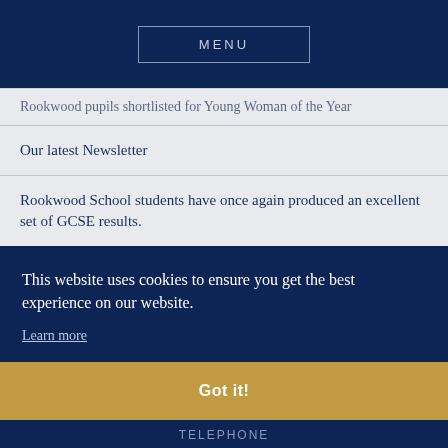MENU
Rookwood pupils shortlisted for Young Woman of the Year
Our latest Newsletter
Rookwood School students have once again produced an excellent set of GCSE results.
Rookwood will launch a new Sixth Form
Rookwood competes at British Schools Pistol National Final
This website uses cookies to ensure you get the best experience on our website.
Learn more
Got it!
TELEPHONE